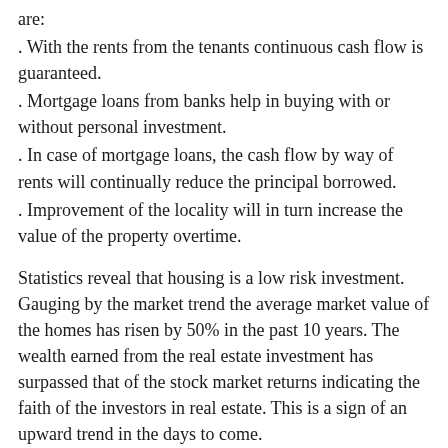are:
. With the rents from the tenants continuous cash flow is guaranteed.
. Mortgage loans from banks help in buying with or without personal investment.
. In case of mortgage loans, the cash flow by way of rents will continually reduce the principal borrowed.
. Improvement of the locality will in turn increase the value of the property overtime.
Statistics reveal that housing is a low risk investment. Gauging by the market trend the average market value of the homes has risen by 50% in the past 10 years. The wealth earned from the real estate investment has surpassed that of the stock market returns indicating the faith of the investors in real estate. This is a sign of an upward trend in the days to come.